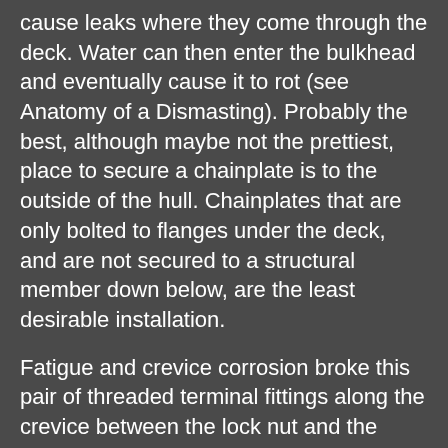cause leaks where they come through the deck. Water can then enter the bulkhead and eventually cause it to rot (see Anatomy of a Dismasting). Probably the best, although maybe not the prettiest, place to secure a chainplate is to the outside of the hull. Chainplates that are only bolted to flanges under the deck, and are not secured to a structural member down below, are the least desirable installation.
Fatigue and crevice corrosion broke this pair of threaded terminal fittings along the crevice between the lock nut and the turnbuckle body, illustrating why disassembly of the turnbuckle is necessary to inspect hidden trouble spots most likely to fail.Turnbuckles Open turnbuckles are easier to inspect and don't retain moisture, which encourages corrosion. Closed turnbuckles retain moisture in the barrel and have of a tendency to freeze up, but they also are better at retaining lubricant. Turnbuckles